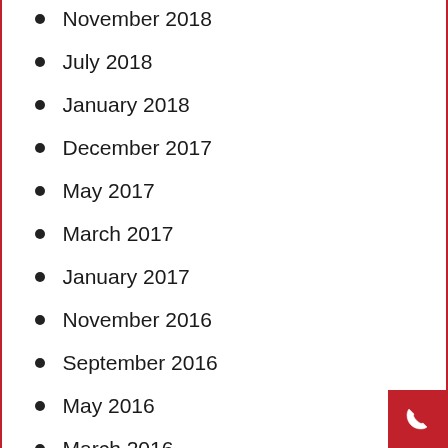November 2018
July 2018
January 2018
December 2017
May 2017
March 2017
January 2017
November 2016
September 2016
May 2016
March 2016
January 2016